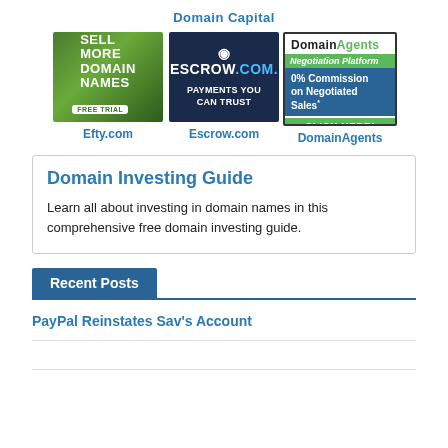Domain Capital
[Figure (illustration): Three advertisement banners side by side: Efty.com (Sell More Domain Names - Free Trial), Escrow.com (Payments You Can Trust), DomainAgents (Negotiation Platform - 0% Commission on Negotiated Sales - Click Here)]
Efty.com    Escrow.com    DomainAgents
Domain Investing Guide
Learn all about investing in domain names in this comprehensive free domain investing guide.
Recent Posts
PayPal Reinstates Sav's Account